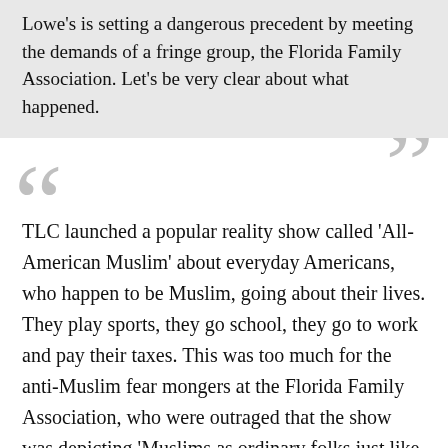Lowe's is setting a dangerous precedent by meeting the demands of a fringe group, the Florida Family Association. Let's be very clear about what happened.
TLC launched a popular reality show called 'All-American Muslim' about everyday Americans, who happen to be Muslim, going about their lives. They play sports, they go school, they go to work and pay their taxes. This was too much for the anti-Muslim fear mongers at the Florida Family Association, who were outraged that the show was depicting 'Muslims as ordinary folks just like you and me.' An article on the organization's website suggests that the show instead depict 'one of its secular, attractive nominal Muslims as he decided to get more serious about his faith, and